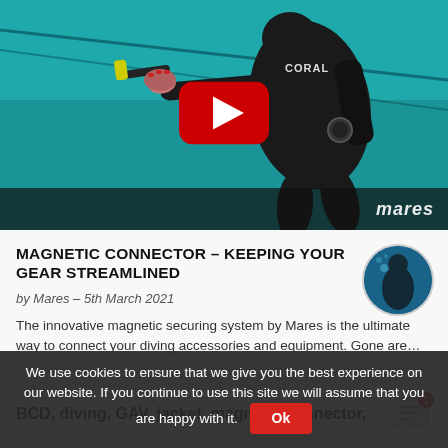[Figure (screenshot): YouTube-style video thumbnail showing a scuba diver underwater wearing a black wetsuit with 'CORAL' printed on it, holding equipment. A large red YouTube play button is centered on the image. 'mares' watermark in bottom-right corner.]
MAGNETIC CONNECTOR – KEEPING YOUR GEAR STREAMLINED
by Mares - 5th March 2021
The innovative magnetic securing system by Mares is the ultimate way to connect your diving accessories and equipment. Gone are...
BCD, diving, GAV, jacket, magnetic connector,
We use cookies to ensure that we give you the best experience on our website. If you continue to use this site we will assume that you are happy with it.